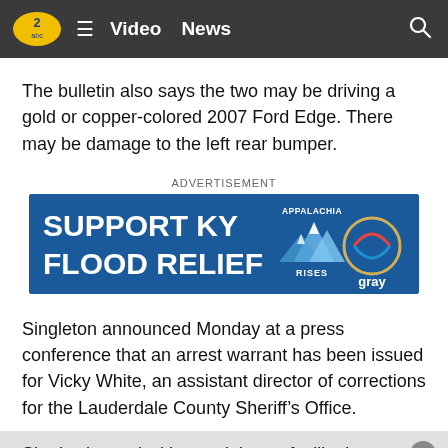Video  News
The bulletin also says the two may be driving a gold or copper-colored 2007 Ford Edge. There may be damage to the left rear bumper.
[Figure (other): Advertisement banner: SUPPORT KY FLOOD RELIEF with Appalachia Rises and gray logos on blue background]
Singleton announced Monday at a press conference that an arrest warrant has been issued for Vicky White, an assistant director of corrections for the Lauderdale County Sheriff’s Office.
She is charged with permitting or facilitating escape in the first degree in connection with capital murder suspect